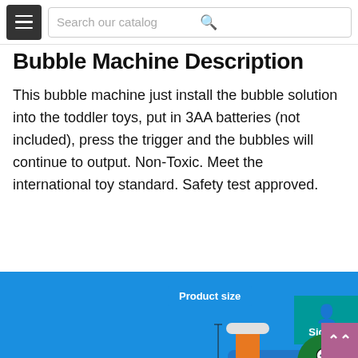Search our catalog
Bubble Machine Description
This bubble machine just install the bubble solution into the toddler toys, put in 3AA batteries (not included), press the trigger and the bubbles will continue to output. Non-Toxic. Meet the international toy standard. Safety test approved.
[Figure (photo): Blue and orange bubble gun toy (Bubble Gatling) with product size dimensions shown: 8.66 in height, 3.14 in width, 16.14 in length. Shown on a blue background with 'Product size' and 'Bubble Gatling' labels.]